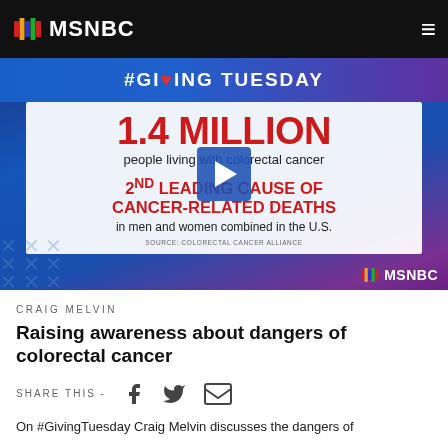MSNBC
[Figure (screenshot): MSNBC video thumbnail showing #GivingTuesday infographic about colorectal cancer statistics: 1.4 MILLION people living with colorectal cancer, 2nd LEADING CAUSE OF CANCER-RELATED DEATHS in men and women combined in the U.S. Source: Colorectal Cancer Alliance. Play button overlay in center.]
CRAIG MELVIN
Raising awareness about dangers of colorectal cancer
SHARE THIS -
On #GivingTuesday Craig Melvin discusses the dangers of